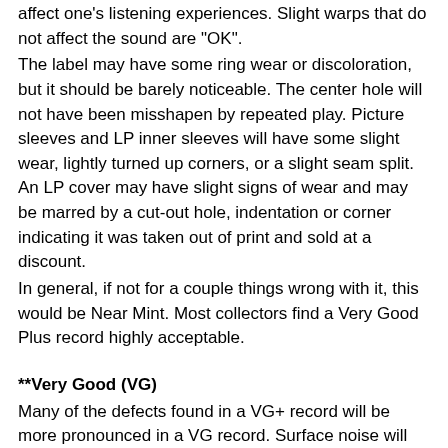affect one's listening experiences. Slight warps that do not affect the sound are "OK".
The label may have some ring wear or discoloration, but it should be barely noticeable. The center hole will not have been misshapen by repeated play. Picture sleeves and LP inner sleeves will have some slight wear, lightly turned up corners, or a slight seam split. An LP cover may have slight signs of wear and may be marred by a cut-out hole, indentation or corner indicating it was taken out of print and sold at a discount.
In general, if not for a couple things wrong with it, this would be Near Mint. Most collectors find a Very Good Plus record highly acceptable.
**Very Good (VG)
Many of the defects found in a VG+ record will be more pronounced in a VG record. Surface noise will be evident upon playing, especially in soft passages and during a song's intro and fade, but will not overpower the music in the mix. Some